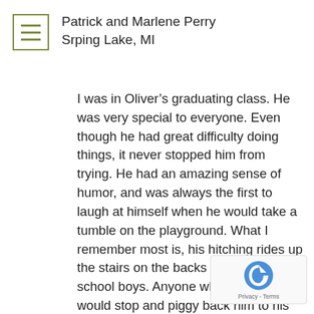[Figure (other): Hamburger menu icon with three horizontal lines inside a square border, olive/green colored]
Patrick and Marlene Perry
Srping Lake, MI
I was in Oliver's graduating class. He was very special to everyone. Even though he had great difficulty doing things, it never stopped him from trying. He had an amazing sense of humor, and was always the first to laugh at himself when he would take a tumble on the playground. What I remember most is, his hitching rides up the stairs on the backs of the high school boys. Anyone who was able would stop and piggy back him to his next class. I'm sure he will be missed by many.My thoughts and prayers are with him.